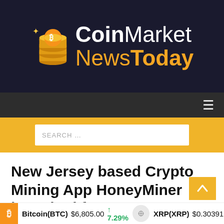[Figure (logo): CoinMarketNewsToday logo with coin stack icon on dark background]
[Figure (screenshot): Navigation bar with hamburger menu on dark grey background]
[Figure (screenshot): Yellow search bar with white search input field]
New Jersey based Crypto Mining App HoneyMiner launched for MacOS Devices
May 10, 2019  Satoshi Today  0
[Figure (screenshot): Cryptocurrency price ticker showing Bitcoin(BTC) $6,805.00 up 7.29% and XRP(XRP) $0.303919 up 1.34%]